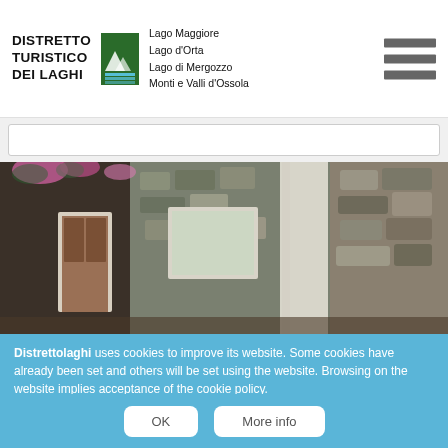[Figure (logo): Distretto Turistico Dei Laghi logo with mountain/lake icon and text listing Lago Maggiore, Lago d'Orta, Lago di Mergozzo, Monti e Valli d'Ossola]
[Figure (photo): Stone building exterior with wooden door, window with curtain, and pink flowers overhead]
Distrettolaghi uses cookies to improve its website. Some cookies have already been set and others will be set using the website. Browsing on the website implies acceptance of the cookie policy.
OK
More info